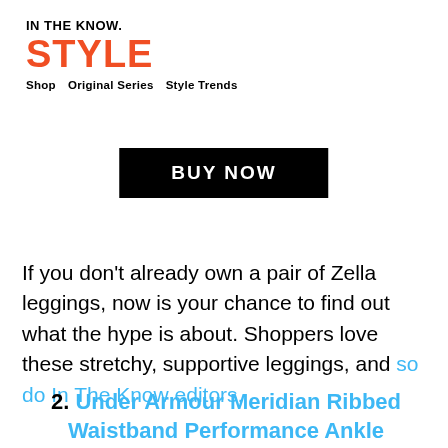IN THE KNOW. STYLE Shop  Original Series  Style Trends
BUY NOW
If you don't already own a pair of Zella leggings, now is your chance to find out what the hype is about. Shoppers love these stretchy, supportive leggings, and so do In The Know editors.
2. Under Armour Meridian Ribbed Waistband Performance Ankle